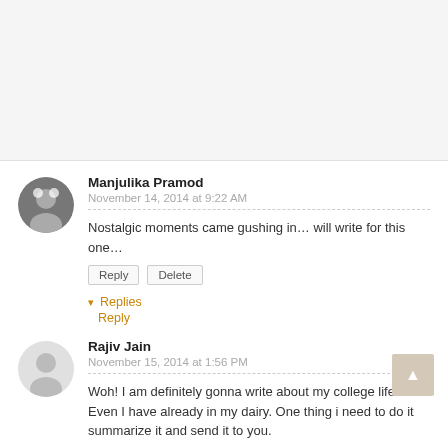Manjulika Pramod
November 14, 2014 at 9:22 AM
Nostalgic moments came gushing in... will write for this one...
Reply Delete
▾ Replies Reply
Rajiv Jain
November 15, 2014 at 1:56 PM
Woh! I am definitely gonna write about my college life. Even I have already in my dairy. One thing i need to do it summarize it and send it to you.
Reply Delete